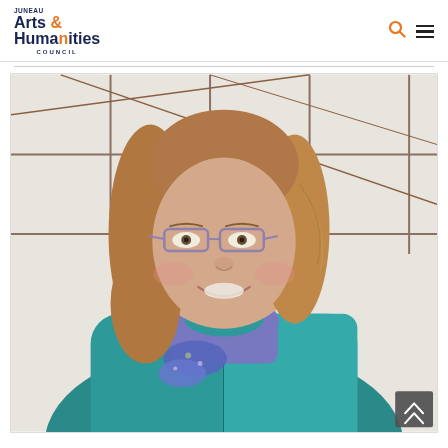Juneau Arts & Humanities Council
[Figure (photo): Portrait photograph of a middle-aged woman with long brown hair, wearing purple-framed glasses, a teal puffer jacket, and a purple turtleneck with a floral scarf. She is smiling and standing in front of a white tiled background with dark grout lines.]